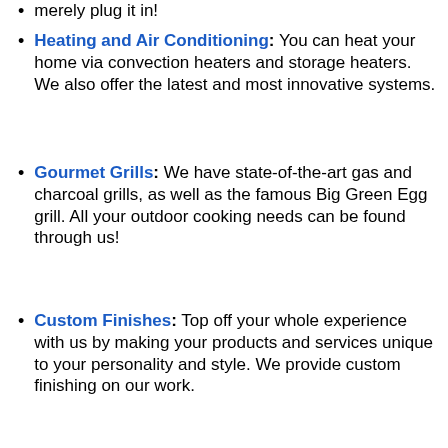merely plug it in!
Heating and Air Conditioning: You can heat your home via convection heaters and storage heaters. We also offer the latest and most innovative systems.
Gourmet Grills: We have state-of-the-art gas and charcoal grills, as well as the famous Big Green Egg grill. All your outdoor cooking needs can be found through us!
Custom Finishes: Top off your whole experience with us by making your products and services unique to your personality and style. We provide custom finishing on our work.
For more information about our products and services, call us at (705) 739-9779 today.